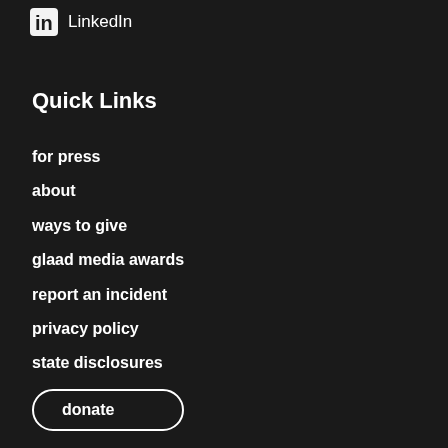[Figure (logo): LinkedIn logo icon (square 'in' symbol) followed by the text 'LinkedIn']
Quick Links
for press
about
ways to give
glaad media awards
report an incident
privacy policy
state disclosures
donate